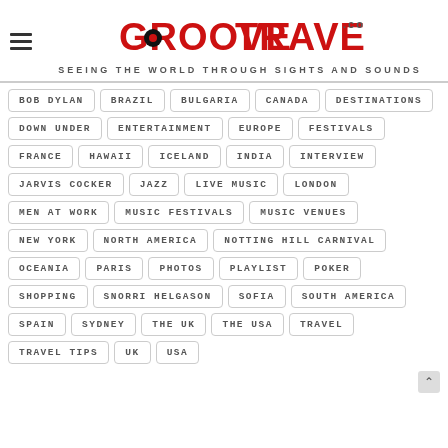GROOVETRAVELER.com — SEEING THE WORLD THROUGH SIGHTS AND SOUNDS
BOB DYLAN
BRAZIL
BULGARIA
CANADA
DESTINATIONS
DOWN UNDER
ENTERTAINMENT
EUROPE
FESTIVALS
FRANCE
HAWAII
ICELAND
INDIA
INTERVIEW
JARVIS COCKER
JAZZ
LIVE MUSIC
LONDON
MEN AT WORK
MUSIC FESTIVALS
MUSIC VENUES
NEW YORK
NORTH AMERICA
NOTTING HILL CARNIVAL
OCEANIA
PARIS
PHOTOS
PLAYLIST
POKER
SHOPPING
SNORRI HELGASON
SOFIA
SOUTH AMERICA
SPAIN
SYDNEY
THE UK
THE USA
TRAVEL
TRAVEL TIPS
UK
USA